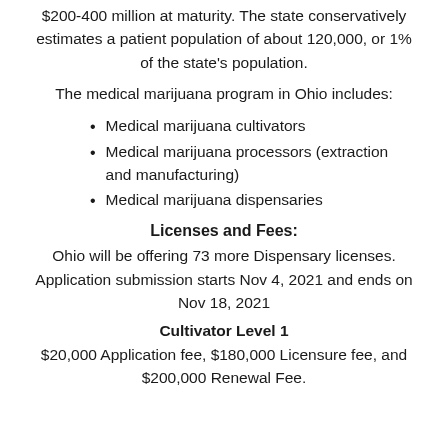$200-400 million at maturity. The state conservatively estimates a patient population of about 120,000, or 1% of the state's population.
The medical marijuana program in Ohio includes:
Medical marijuana cultivators
Medical marijuana processors (extraction and manufacturing)
Medical marijuana dispensaries
Licenses and Fees:
Ohio will be offering 73 more Dispensary licenses. Application submission starts Nov 4, 2021 and ends on Nov 18, 2021
Cultivator Level 1
$20,000 Application fee, $180,000 Licensure fee, and $200,000 Renewal Fee.